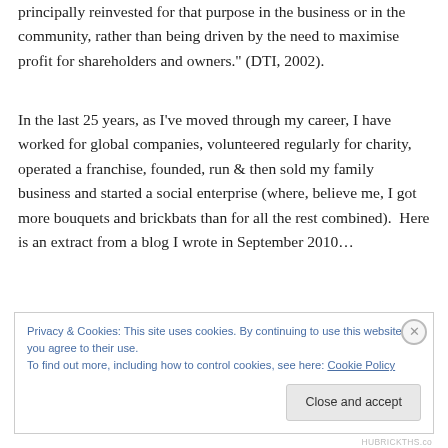principally reinvested for that purpose in the business or in the community, rather than being driven by the need to maximise profit for shareholders and owners." (DTI, 2002).
In the last 25 years, as I've moved through my career, I have worked for global companies, volunteered regularly for charity, operated a franchise, founded, run & then sold my family business and started a social enterprise (where, believe me, I got more bouquets and brickbats than for all the rest combined).  Here is an extract from a blog I wrote in September 2010…
Privacy & Cookies: This site uses cookies. By continuing to use this website, you agree to their use.
To find out more, including how to control cookies, see here: Cookie Policy